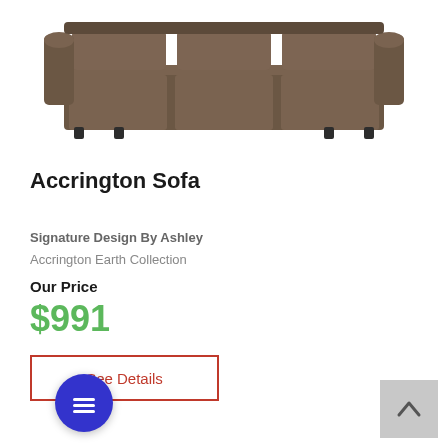[Figure (photo): Product photo of a brown/dark tan microfiber sofa (Accrington Sofa), three-seater with squared arms, viewed from the front, partially cropped at the top.]
Accrington Sofa
Signature Design By Ashley
Accrington Earth Collection
Our Price
$991
See Details
[Figure (illustration): Blue circular chat/messaging button with white horizontal lines icon]
[Figure (illustration): Light gray square scroll-to-top button with upward pointing chevron]